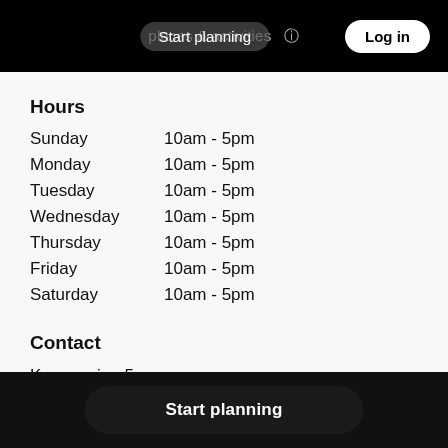Start planning  places & activities  Log in
Hours
| Day | Hours |
| --- | --- |
| Sunday | 10am - 5pm |
| Monday | 10am - 5pm |
| Tuesday | 10am - 5pm |
| Wednesday | 10am - 5pm |
| Thursday | 10am - 5pm |
| Friday | 10am - 5pm |
| Saturday | 10am - 5pm |
Contact
Kongeveien 5,
0787 Oslo,
N...
Start planning